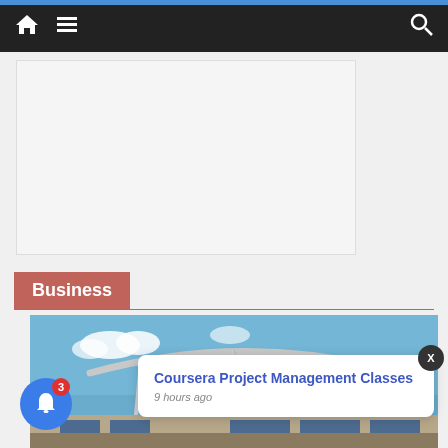Navigation bar with home icon, menu icon, and search icon
[Figure (other): Advertisement placeholder box, light gray background]
Business
[Figure (photo): Building exterior with white architectural canopy/overhang against blue sky]
Coursera Project Management Classes
9 hours ago